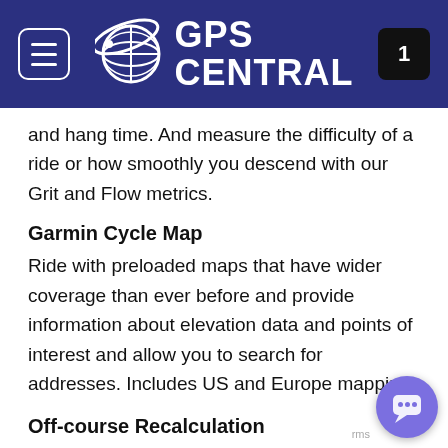GPS CENTRAL
and hang time. And measure the difficulty of a ride or how smoothly you descend with our Grit and Flow metrics.
Garmin Cycle Map
Ride with preloaded maps that have wider coverage than ever before and provide information about elevation data and points of interest and allow you to search for addresses. Includes US and Europe mapping.
Off-course Recalculation
Feel free to pause route guidance and off-course notifications while you go off course to explore. When you're ready to get back on track, Edge